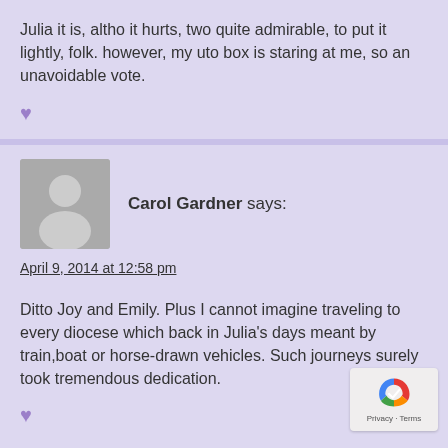Julia it is, altho it hurts, two quite admirable, to put it lightly, folk. however, my uto box is staring at me, so an unavoidable vote.
[Figure (illustration): Purple heart icon (like button)]
[Figure (illustration): Gray avatar placeholder image for Carol Gardner]
Carol Gardner says:
April 9, 2014 at 12:58 pm
Ditto Joy and Emily. Plus I cannot imagine traveling to every diocese which back in Julia's days meant by train,boat or horse-drawn vehicles. Such journeys surely took tremendous dedication.
[Figure (illustration): Purple heart icon (like button)]
[Figure (illustration): Google reCAPTCHA badge with Privacy and Terms links]